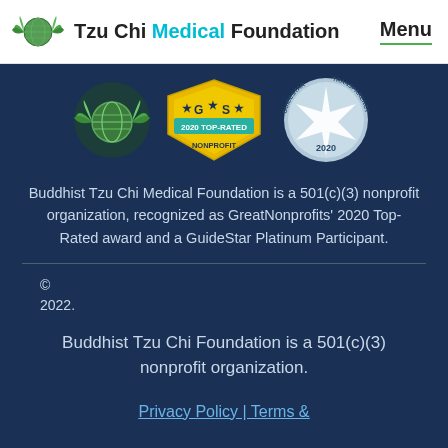Tzu Chi Medical Foundation | Menu
[Figure (logo): Three badge logos: Tzu Chi globe logo, GreatNonprofits 2020 Top-Rated Nonprofit badge, GuideStar 2020 Transparency badge]
Buddhist Tzu Chi Medical Foundation is a 501(c)(3) nonprofit organization, recognized as GreatNonprofits’ 2020 Top-Rated award and a GuideStar Platinum Participant.
© 2022.
Buddhist Tzu Chi Foundation is a 501(c)(3) nonprofit organization.
Privacy Policy | Terms &